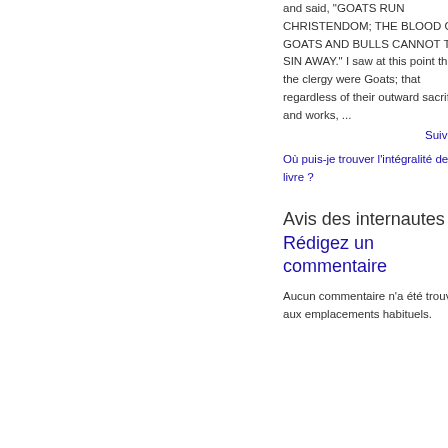and said, "GOATS RUN CHRISTENDOM; THE BLOOD OF GOATS AND BULLS CANNOT TAKE SIN AWAY." I saw at this point that the clergy were Goats; that regardless of their outward sacrifice and works, ...
Suivant »
Où puis-je trouver l'intégralité de ce livre ?
Avis des internautes - Rédigez un commentaire
Aucun commentaire n'a été trouvé aux emplacements habituels.